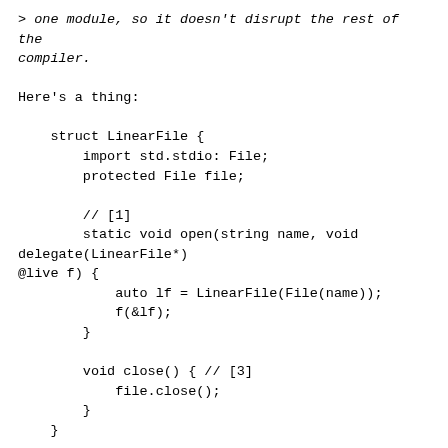> one module, so it doesn't disrupt the rest of the compiler.
Here's a thing:
struct LinearFile {
        import std.stdio: File;
        protected File file;

        // [1]
        static void open(string name, void delegate(LinearFile*)
@live f) {
            auto lf = LinearFile(File(name));
            f(&lf);
        }

        void close() { // [3]
            file.close();
        }
    }

    string readln(scope LinearFile* f) {
        return f.file.readln;
    }

    void live_close(LinearFile* f) {
        f.close;
    }